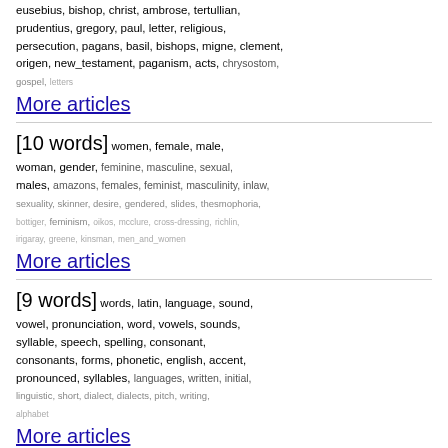eusebius, bishop, christ, ambrose, tertullian, prudentius, gregory, paul, letter, religious, persecution, pagans, basil, bishops, migne, clement, origen, new_testament, paganism, acts, chrysostom, gospel, letters
More articles
[10 words] women, female, male, woman, gender, feminine, masculine, sexual, males, amazons, females, feminist, masculinity, inlaw, sexuality, skinner, desire, gendered, slides, thesmophoria, bottiger, feminism, oikos, mcclure, cross-dressing, richlin, irigaray, greene, kinsman, men_and_women
More articles
[9 words] words, latin, language, sound, vowel, pronunciation, word, vowels, sounds, syllable, speech, spelling, consonant, consonants, forms, phonetic, english, accent, pronounced, syllables, languages, written, initial, linguistic, short, dialect, dialects, pitch, writing, alphabet
More articles
[8 words]